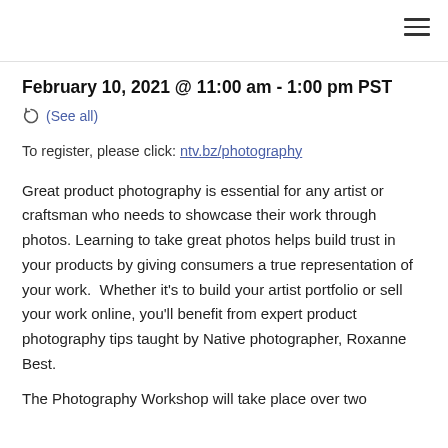February 10, 2021 @ 11:00 am - 1:00 pm PST
(See all)
To register, please click: ntv.bz/photography
Great product photography is essential for any artist or craftsman who needs to showcase their work through photos. Learning to take great photos helps build trust in your products by giving consumers a true representation of your work.  Whether it's to build your artist portfolio or sell your work online, you'll benefit from expert product photography tips taught by Native photographer, Roxanne Best.
The Photography Workshop will take place over two